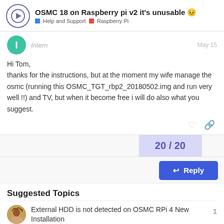OSMC 18 on Raspberry pi v2 it's unusable 😣 — Help and Support > Raspberry Pi
Hi Tom,
thanks for the instructions, but at the moment my wife manage the osmc (running this OSMC_TGT_rbp2_20180502.img and run very well !!) and TV, but when it become free i will do also what you suggest.
20 / 20
Suggested Topics
External HDD is not detected on OSMC RPi 4 New Installation
Raspberry Pi  Feb '21  1